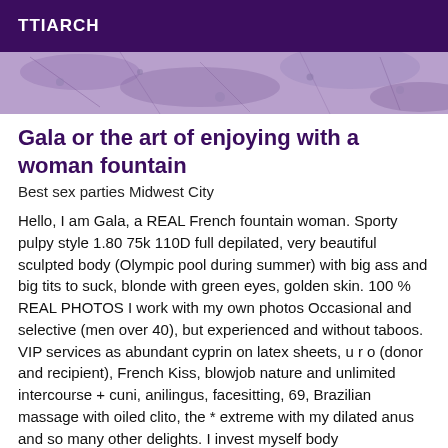TTIARCH
[Figure (photo): Purple-toned decorative banner image with floral/nature pattern texture]
Gala or the art of enjoying with a woman fountain
Best sex parties Midwest City
Hello, I am Gala, a REAL French fountain woman. Sporty pulpy style 1.80 75k 110D full depilated, very beautiful sculpted body (Olympic pool during summer) with big ass and big tits to suck, blonde with green eyes, golden skin. 100 % REAL PHOTOS I work with my own photos Occasional and selective (men over 40), but experienced and without taboos. VIP services as abundant cyprin on latex sheets, u r o (donor and recipient), French Kiss, blowjob nature and unlimited intercourse + cuni, anilingus, facesitting, 69, Brazilian massage with oiled clito, the * extreme with my dilated anus and so many other delights. I invest myself body